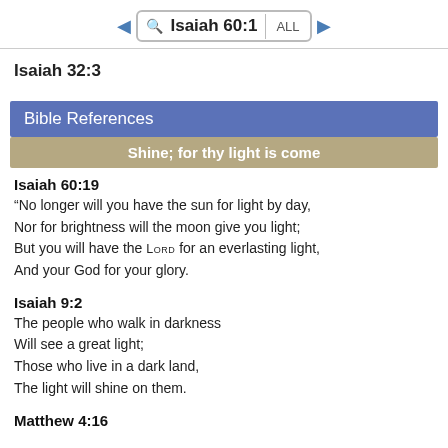Isaiah 60:1
Isaiah 32:3
Bible References
Shine; for thy light is come
Isaiah 60:19
“No longer will you have the sun for light by day, Nor for brightness will the moon give you light; But you will have the LORD for an everlasting light, And your God for your glory.
Isaiah 9:2
The people who walk in darkness
Will see a great light;
Those who live in a dark land,
The light will shine on them.
Matthew 4:16